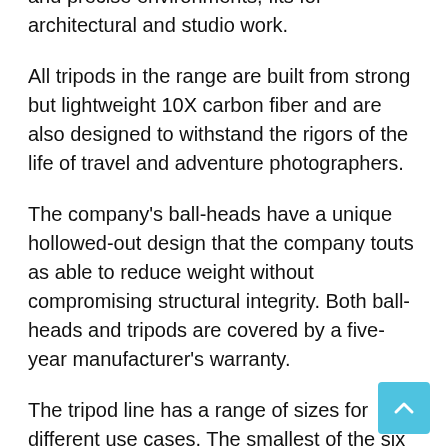and precise environments, fits for architectural and studio work.
All tripods in the range are built from strong but lightweight 10X carbon fiber and are also designed to withstand the rigors of the life of travel and adventure photographers.
The company's ball-heads have a unique hollowed-out design that the company touts as able to reduce weight without compromising structural integrity. Both ball-heads and tripods are covered by a five-year manufacturer's warranty.
The tripod line has a range of sizes for different use cases. The smallest of the six tripods in the range is the GX-PROK Gravity Explorer PRO table-top tripod, which the company says is suitable for vlogging, mobile devices, and low-a photography.